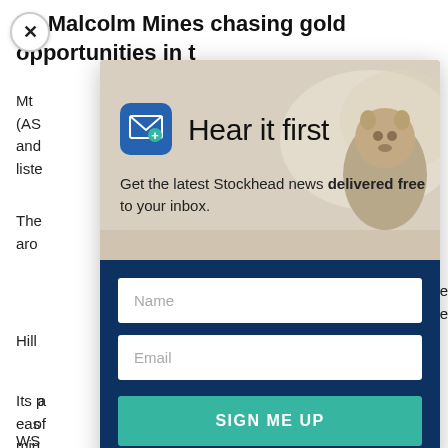Mt Malcolm Mines chasing gold opportunities in t...
Mt... (AS... r and... liste...
The... aro...
gold... te the... e Hill...
Its p... a eas... of min...
[Figure (screenshot): Email subscription modal popup with 'Hear it first' heading, mail icon, subtext 'Get the latest Stockhead news delivered free to your inbox.', Name input, Email input, and SIGN ME UP button. Background shows a groundhog/marmot photo. Modal overlaid on article about Mt Malcolm Mines.]